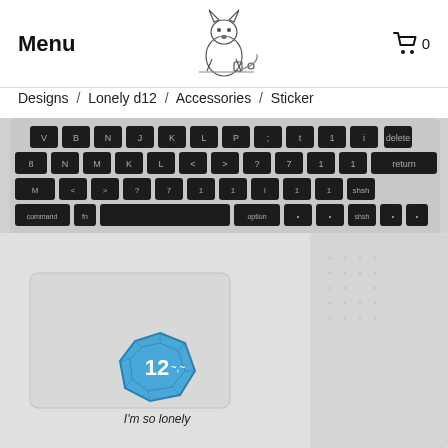Menu  0
Designs / Lonely d12 / Accessories / Sticker
[Figure (photo): Product photo showing a MacBook laptop keyboard and trackpad area, with a blue dodecahedral die (d12) sticker reading '12' and 'I'm so lonely' placed near the trackpad.]